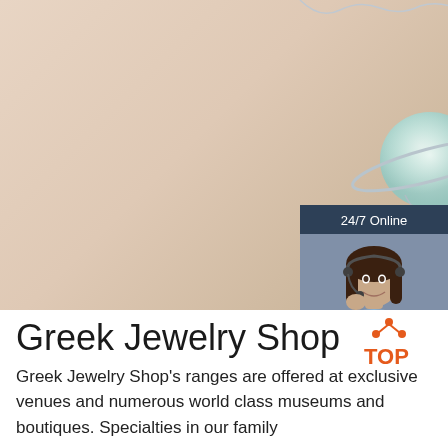[Figure (photo): Close-up photo of a silver necklace with a planet/Saturn-shaped pendant with opal stone, star charms, and dangling chain, on a beige/cream fabric background]
[Figure (photo): Customer service chat widget showing a woman wearing a headset with text '24/7 Online', 'Click here for free chat!', and an orange 'QUOTATION' button, on dark navy background]
Greek Jewelry Shop
Greek Jewelry Shop's ranges are offered at exclusive venues and numerous world class museums and boutiques. Specialties in our family